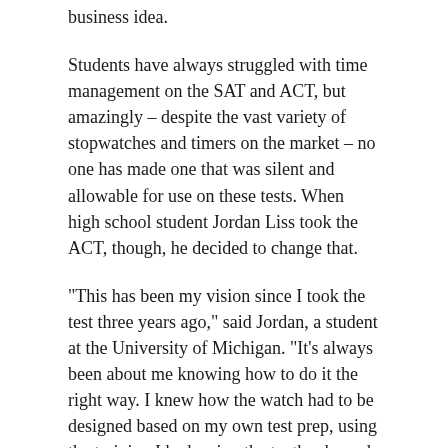business idea.
Students have always struggled with time management on the SAT and ACT, but amazingly – despite the vast variety of stopwatches and timers on the market – no one has made one that was silent and allowable for use on these tests. When high school student Jordan Liss took the ACT, though, he decided to change that.
"This has been my vision since I took the test three years ago," said Jordan, a student at the University of Michigan. "It's always been about me knowing how to do it the right way. I knew how the watch had to be designed based on my own test prep, using the training I had, using the textbooks and my test experience." Like most students, Jordan didn't start out using a watch to pace himself. He used his cellphone as a timer when practicing at home, but at the test site, no cellphones are allowed. Students may or may not be able to see a clock on the wall, and the